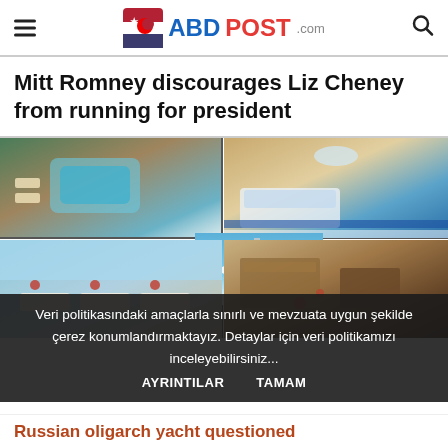ABDPOST.com
Mitt Romney discourages Liz Cheney from running for president
[Figure (photo): Photo collage of a luxury yacht: aerial view of deck with pool, interior bedroom/salon, yacht at sea, outdoor lounge deck, and interior living room with wood paneling.]
Veri politikasındaki amaçlarla sınırlı ve mevzuata uygun şekilde çerez konumlandırmaktayız. Detaylar için veri politikamızı inceleyebilirsiniz...
AYRINTILAR   TAMAM
Russian oligarch yacht questioned